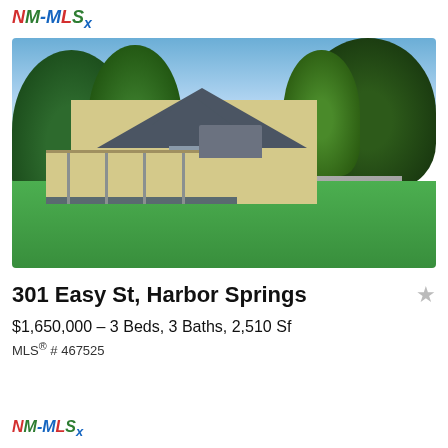NM-MLSx
[Figure (photo): Exterior photo of a yellow craftsman-style house with a covered front porch, surrounded by large green trees, with a paved driveway, green lawn, and blue sky in the background.]
301 Easy St, Harbor Springs
$1,650,000 – 3 Beds, 3 Baths, 2,510 Sf
MLS® # 467525
NM-MLSx